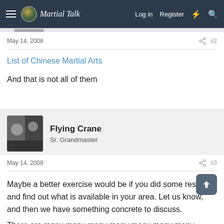Martial Talk — Log in  Register
May 14, 2008  #2
List of Chinese Martial Arts
And that is not all of them
Flying Crane
Sr. Grandmaster
May 14, 2008  #3
Maybe a better exercise would be if you did some research and find out what is available in your area. Let us know, and then we have something concrete to discuss.
There are many many many many many many many different systems of Chinese martial arts. Some are very similar to